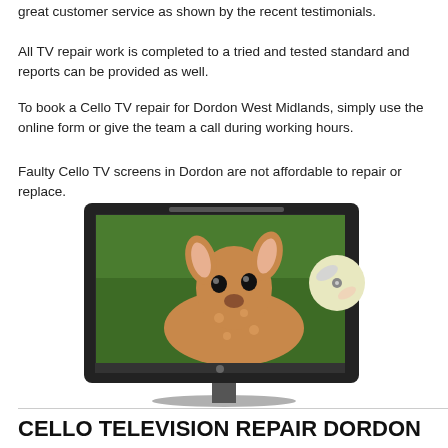great customer service as shown by the recent testimonials.
All TV repair work is completed to a tried and tested standard and reports can be provided as well.
To book a Cello TV repair for Dordon West Midlands, simply use the online form or give the team a call during working hours.
Faulty Cello TV screens in Dordon are not affordable to repair or replace.
[Figure (photo): A flat-screen Cello television displaying a deer (fawn) on a green background, with a DVD drive on the right side, on a stand.]
CELLO TELEVISION REPAIR DORDON IN WEST MIDLANDS